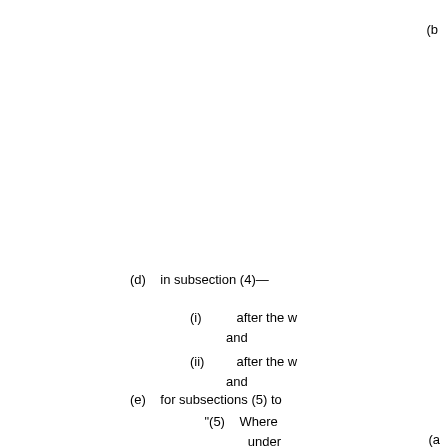(b
(d)    in subsection (4)—
(i)    after the w... and
(ii)    after the w... and
(e)    for subsections (5) to...
"(5)    Where... under... below
(a